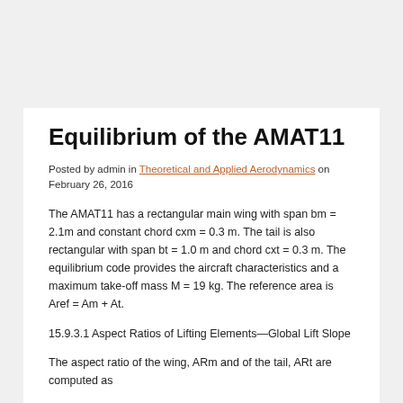Equilibrium of the AMAT11
Posted by admin in Theoretical and Applied Aerodynamics on February 26, 2016
The AMAT11 has a rectangular main wing with span bm = 2.1m and constant chord cxm = 0.3 m. The tail is also rectangular with span bt = 1.0 m and chord cxt = 0.3 m. The equilibrium code provides the aircraft characteristics and a maximum take-off mass M = 19 kg. The reference area is Aref = Am + At.
15.9.3.1 Aspect Ratios of Lifting Elements—Global Lift Slope
The aspect ratio of the wing, ARm and of the tail, ARt are computed as
bm bt